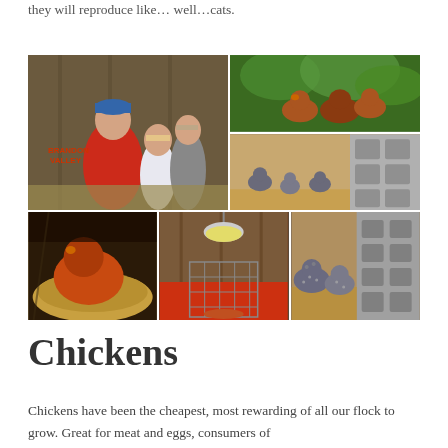they will reproduce like… well…cats.
[Figure (photo): Collage of six chicken farm photos: top-left shows a woman in a red Brandon Valley sweatshirt and blue cap showing children something in a wooden barn; top-middle-right shows brown/red chickens among green plants outdoors; middle-right shows young chicks on straw near cinder blocks; bottom-left shows a hen sitting on straw/hay nest; bottom-center shows a wire cage with heat lamp on red floor; bottom-right shows speckled chickens near cinder block wall.]
Chickens
Chickens have been the cheapest, most rewarding of all our flock to grow. Great for meat and eggs, consumers of